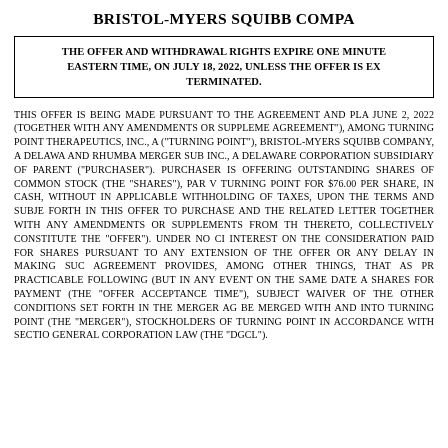BRISTOL-MYERS SQUIBB COMPA
THE OFFER AND WITHDRAWAL RIGHTS EXPIRE ONE MINUTE EASTERN TIME, ON JULY 18, 2022, UNLESS THE OFFER IS EX TERMINATED.
THIS OFFER IS BEING MADE PURSUANT TO THE AGREEMENT AND PLA JUNE 2, 2022 (TOGETHER WITH ANY AMENDMENTS OR SUPPLEME AGREEMENT"), AMONG TURNING POINT THERAPEUTICS, INC., A ("TURNING POINT"), BRISTOL-MYERS SQUIBB COMPANY, A DELAWA AND RHUMBA MERGER SUB INC., A DELAWARE CORPORATION SUBSIDIARY OF PARENT ("PURCHASER"). PURCHASER IS OFFERING OUTSTANDING SHARES OF COMMON STOCK (THE "SHARES"), PAR V TURNING POINT FOR $76.00 PER SHARE, IN CASH, WITHOUT IN APPLICABLE WITHHOLDING OF TAXES, UPON THE TERMS AND SUBJE FORTH IN THIS OFFER TO PURCHASE AND THE RELATED LETTER TOGETHER WITH ANY AMENDMENTS OR SUPPLEMENTS FROM TH THERETO, COLLECTIVELY CONSTITUTE THE "OFFER"). UNDER NO CI INTEREST ON THE CONSIDERATION PAID FOR SHARES PURSUANT TO ANY EXTENSION OF THE OFFER OR ANY DELAY IN MAKING SUC AGREEMENT PROVIDES, AMONG OTHER THINGS, THAT AS PR PRACTICABLE FOLLOWING (BUT IN ANY EVENT ON THE SAME DATE A SHARES FOR PAYMENT (THE "OFFER ACCEPTANCE TIME"), SUBJECT WAIVER OF THE OTHER CONDITIONS SET FORTH IN THE MERGER AG BE MERGED WITH AND INTO TURNING POINT (THE "MERGER"), STOCKHOLDERS OF TURNING POINT IN ACCORDANCE WITH SECTIO GENERAL CORPORATION LAW (THE "DGCL").